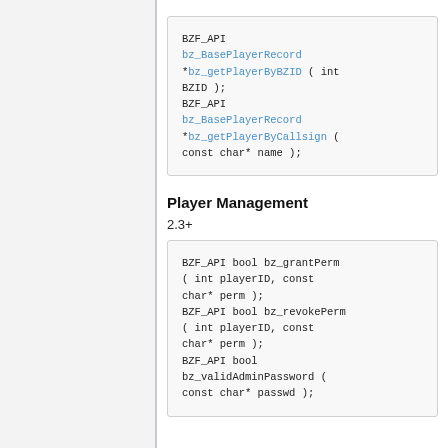BZF_API bz_BasePlayerRecord *bz_getPlayerByBZID ( int BZID ); BZF_API bz_BasePlayerRecord *bz_getPlayerByCallsign ( const char* name );
Player Management
2.3+
BZF_API bool bz_grantPerm ( int playerID, const char* perm ); BZF_API bool bz_revokePerm ( int playerID, const char* perm ); BZF_API bool bz_validAdminPassword ( const char* passwd );